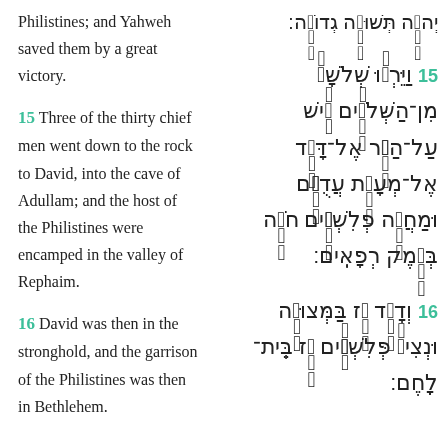Philistines; and Yahweh saved them by a great victory.
15 Three of the thirty chief men went down to the rock to David, into the cave of Adullam; and the host of the Philistines were encamped in the valley of Rephaim.
16 David was then in the stronghold, and the garrison of the Philistines was then in Bethlehem.
Hebrew text (right column): Biblical Hebrew text for the corresponding verses